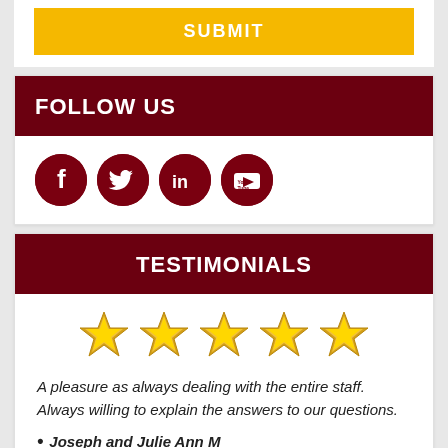SUBMIT
FOLLOW US
[Figure (illustration): Four dark red circular social media icons: Facebook (f), Twitter (bird), LinkedIn (in), YouTube (play button with 'Tube' text)]
TESTIMONIALS
[Figure (illustration): Five gold/yellow star rating icons in a row]
A pleasure as always dealing with the entire staff. Always willing to explain the answers to our questions.
Joseph and Julie Ann M